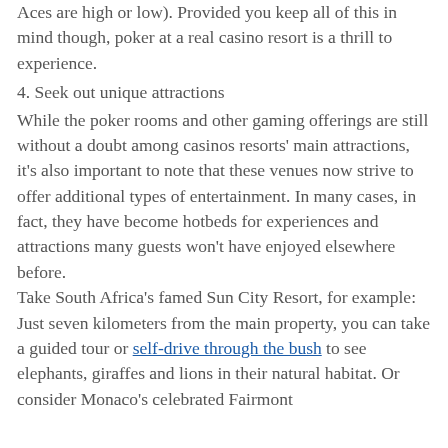Aces are high or low). Provided you keep all of this in mind though, poker at a real casino resort is a thrill to experience.
4. Seek out unique attractions
While the poker rooms and other gaming offerings are still without a doubt among casinos resorts' main attractions, it's also important to note that these venues now strive to offer additional types of entertainment. In many cases, in fact, they have become hotbeds for experiences and attractions many guests won't have enjoyed elsewhere before.
Take South Africa's famed Sun City Resort, for example: Just seven kilometers from the main property, you can take a guided tour or self-drive through the bush to see elephants, giraffes and lions in their natural habitat. Or consider Monaco's celebrated Fairmont